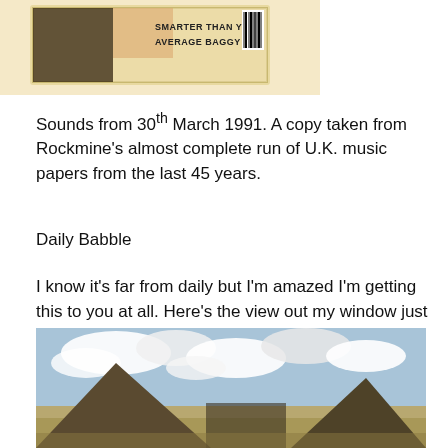[Figure (photo): Partial view of a music magazine cover showing text 'SMARTER THAN YOUR AVERAGE BAGGY' with a barcode, on a cream/beige background]
Sounds from 30th March 1991. A copy taken from Rockmine's almost complete run of U.K. music papers from the last 45 years.
Daily Babble
I know it's far from daily but I'm amazed I'm getting this to you at all. Here's the view out my window just now:
[Figure (photo): Photograph of Egyptian pyramids at Giza under a partly cloudy sky, two large pyramids visible]